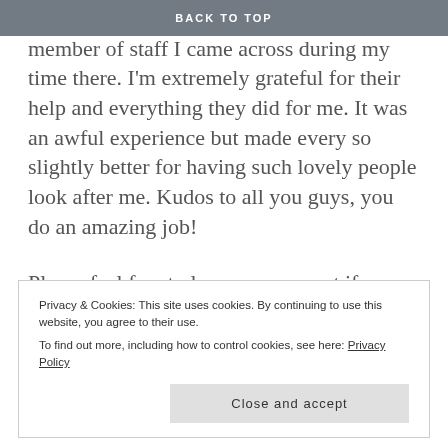BACK TO TOP
absolutely incredible, and single member of staff I came across during my time there. I'm extremely grateful for their help and everything they did for me. It was an awful experience but made every so slightly better for having such lovely people look after me. Kudos to all you guys, you do an amazing job!
Please feel free to leave a comment if you want to share your story or to ask any questions. I'd be more than happy to try and help if I can.
Privacy & Cookies: This site uses cookies. By continuing to use this website, you agree to their use. To find out more, including how to control cookies, see here: Privacy Policy